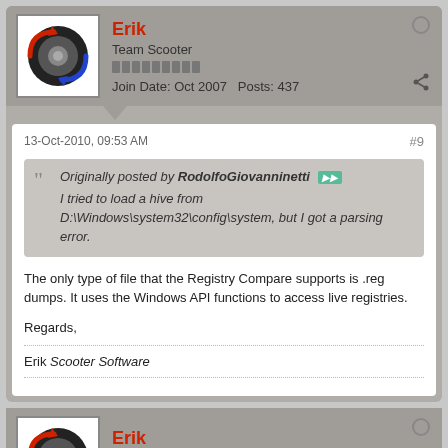Erik | Team Scooter | Join Date: Oct 2007 | Posts: 437
13-Oct-2010, 09:53 AM  #9
Originally posted by RodolfoGiovanninetti
I tried to load a hive from D:\Windows\system32\config\system, but I got a parsing error.
The only type of file that the Registry Compare supports is .reg dumps. It uses the Windows API functions to access live registries.
Regards,
Erik Scooter Software
Erik | Team Scooter